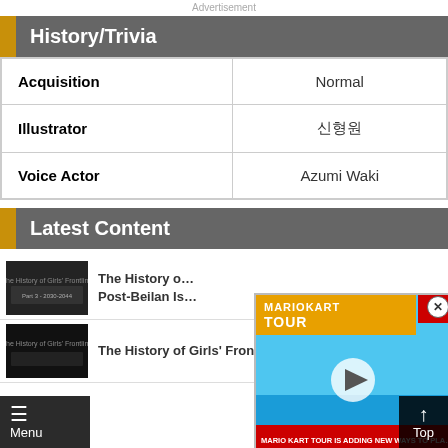Advertisement
History/Trivia
|  |  |
| --- | --- |
| Acquisition | Normal |
| Illustrator | 신형원 |
| Voice Actor | Azumi Waki |
Latest Content
[Figure (screenshot): Thumbnail for 'The History of Girls Frontline' article showing dark atmospheric scene, Part 3]
The History of Girls' Frontline Post-Beilan Is...
[Figure (screenshot): Thumbnail for second History of Girls Frontline article]
The History of Girls' Frontline Part 2 -
[Figure (screenshot): Mario Kart Tour advertisement overlay with play button and text: MARIO KART TOUR IS ADDING NEW WAYS TO PLAY]